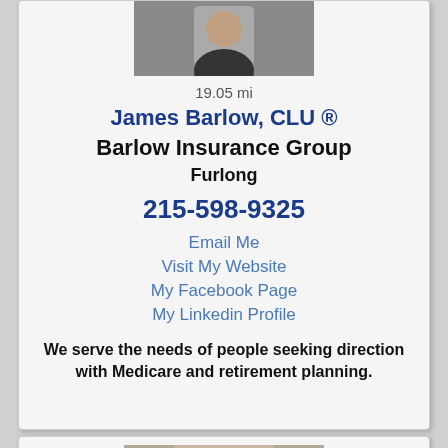[Figure (photo): Headshot photo of James Barlow, older male in dark jacket]
19.05 mi
James Barlow, CLU ®
Barlow Insurance Group
Furlong
215-598-9325
Email Me
Visit My Website
My Facebook Page
My Linkedin Profile
We serve the needs of people seeking direction with Medicare and retirement planning.
[Figure (photo): Headshot photo of second agent, younger male in suit with tie, smiling]